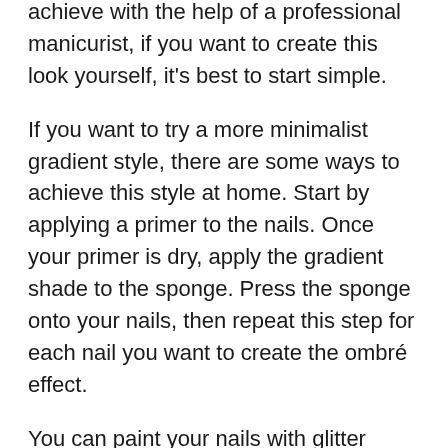achieve with the help of a professional manicurist, if you want to create this look yourself, it's best to start simple.
If you want to try a more minimalist gradient style, there are some ways to achieve this style at home. Start by applying a primer to the nails. Once your primer is dry, apply the gradient shade to the sponge. Press the sponge onto your nails, then repeat this step for each nail you want to create the ombré effect.
You can paint your nails with glitter polish, confetti, and any jewelry you want, and that's it! You have all the tools you need to create an effortless gradient style. Read on to see 24 of the